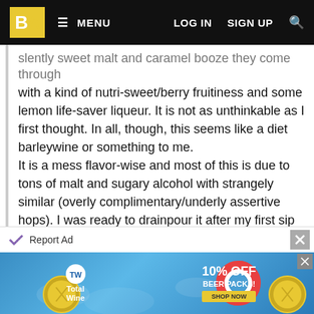BA MENU LOG IN SIGN UP 🔍
slently sweet malt and caramel booze they come through with a kind of nutri-sweet/berry fruitiness and some lemon life-saver liqueur. It is not as unthinkable as I first thought. In all, though, this seems like a diet barleywine or something to me.
It is a mess flavor-wise and most of this is due to tons of malt and sugary alcohol with strangely similar (overly complimentary/underly assertive hops). I was ready to drainpour it after my first sip but as it warmed a little and filled me with its syrupy basil-grass-molasses-liquor I was able to drink it and not shudder; I didn't savor it, though. Meh.
Feb 15, 2017
Rated: 3.71 by JOhn_Molson from Canada (QC)
Jan 27, 2017
[Figure (other): Total Wine advertisement banner showing 10% OFF BEER PACKS offer with life preserver and gold coin graphics on blue water background]